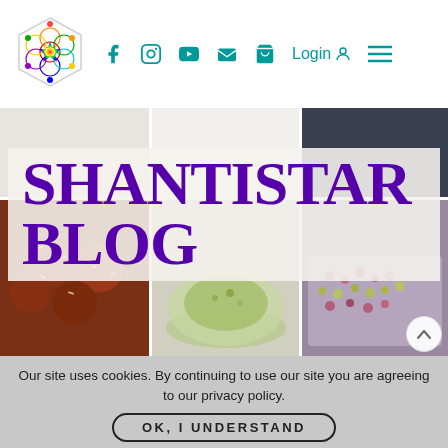[Figure (logo): Flower of Life geometric colorful mandala logo in top left header]
f  Instagram  YouTube  Email  Cart  Login  Menu
[Figure (photo): Collage hero image with food photos: dates/energy balls with seeds, bowl of green matcha, rose water dessert with dried flowers]
SHANTISTAR BLOG
Our site uses cookies. By continuing to use our site you are agreeing to our privacy policy.
OK, I UNDERSTAND